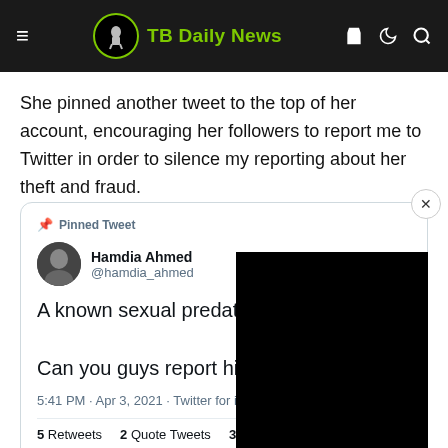TB Daily News
She pinned another tweet to the top of her account, encouraging her followers to report me to Twitter in order to silence my reporting about her theft and fraud.
[Figure (screenshot): Embedded tweet screenshot from @hamdia_ahmed (Hamdia Ahmed) - Pinned Tweet reading: 'A known sexual predator is harassing me. Can you guys report his page.?' posted at 5:41 PM · Apr 3, 2021 · Twitter for iPhone. 5 Retweets, 2 Quote Tweets, 35 Likes. Reply and retweet icons visible. Black overlay panel on right side with close button.]